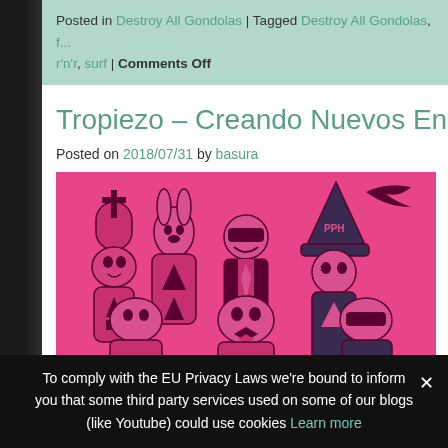Posted in Destroy All Gondolas | Tagged Destroy All Gondolas, f... r'n'r, surf | Comments Off
Tropiezo – Creando Nuevos Enemigos
Posted on 2018/07/31 by basura
[Figure (illustration): Pink-background illustration of several cartoon characters in various costumes including a bunny, a figure with a cross tombstone, a wizard hat, and others in a group scene.]
To comply with the EU Privacy Laws we're bound to inform you that some third party services used on some of our blogs (like Youtube) could use cookies Learn more